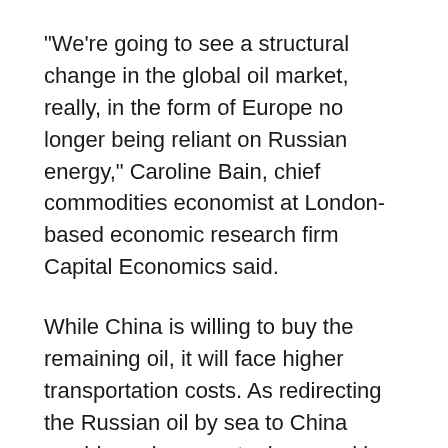"We're going to see a structural change in the global oil market, really, in the form of Europe no longer being reliant on Russian energy," Caroline Bain, chief commodities economist at London-based economic research firm Capital Economics said.
While China is willing to buy the remaining oil, it will face higher transportation costs. As redirecting the Russian oil by sea to China would require supertankers, making weeks-long journeys from the Black Sea to the Mediterranean, and then through the Suez